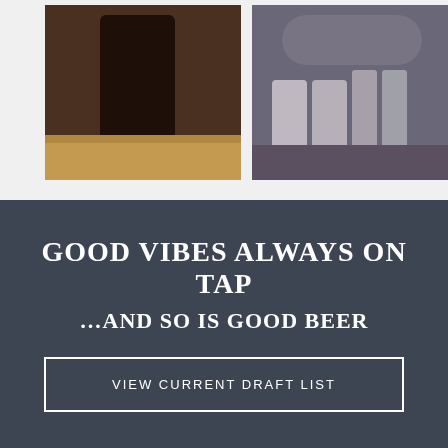[Figure (photo): Two side-by-side photos. Left photo shows a dark-cloaked figure standing in a brewery or bar with wooden floors. Right photo shows a group of people holding drinks with beer cans and bottles on a table in front of them.]
GOOD VIBES ALWAYS ON TAP
…AND SO IS GOOD BEER
VIEW CURRENT DRAFT LIST